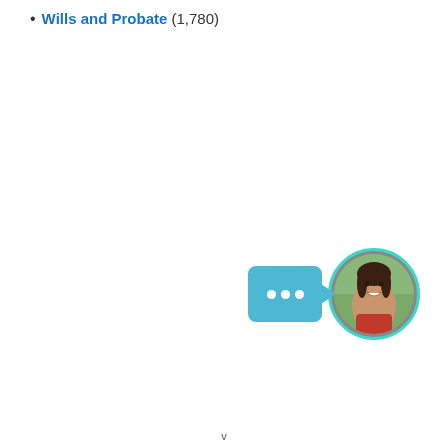Wills and Probate (1,780)
[Figure (illustration): Chat widget with a speech bubble containing three white dots (typing indicator) and a circular avatar photo of a smiling woman with dark hair, surrounded by a teal/cyan border]
v